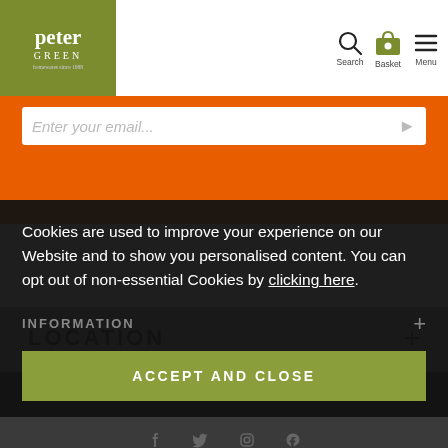[Figure (logo): Peter Green logo — olive green square with white text 'peter GREEN' and small tagline]
Search  Basket  Menu
Enter your email...
LOCATION
OPENING TIMES
Cookies are used to improve your experience on our Website and to show you personalised content. You can opt out of non-essential Cookies by clicking here.
INFORMATION
ACCEPT AND CLOSE